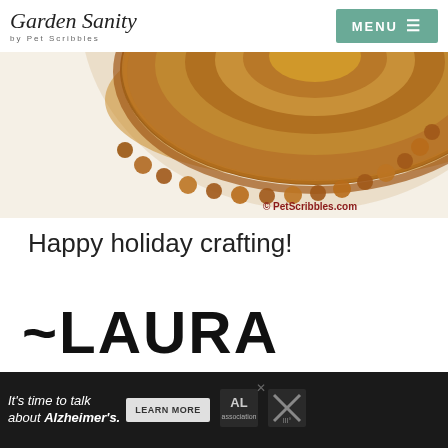Garden Sanity by Pet Scribbles | MENU
[Figure (photo): Close-up photo of a decorative wicker or woven circular basket/dish from above, cream background with watermark © PetScribbles.com]
Happy holiday crafting!
~LAURA
[Figure (infographic): Ad banner: It's time to talk about Alzheimer's. LEARN MORE button. Alzheimer's Association logo. Close buttons.]